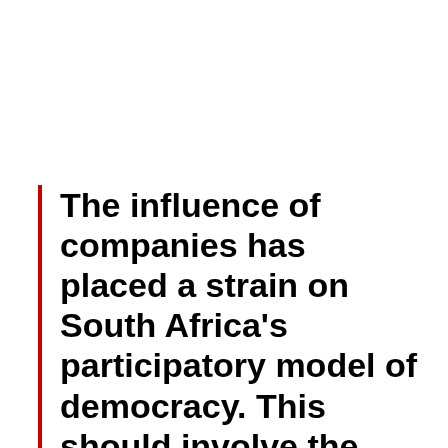The influence of companies has placed a strain on South Africa's participatory model of democracy. This should involve the government, residents and the civic community. Local